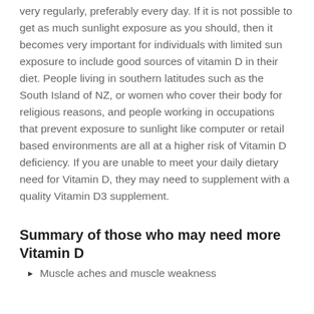very regularly, preferably every day. If it is not possible to get as much sunlight exposure as you should, then it becomes very important for individuals with limited sun exposure to include good sources of vitamin D in their diet. People living in southern latitudes such as the South Island of NZ, or women who cover their body for religious reasons, and people working in occupations that prevent exposure to sunlight like computer or retail based environments are all at a higher risk of Vitamin D deficiency. If you are unable to meet your daily dietary need for Vitamin D, they may need to supplement with a quality Vitamin D3 supplement.
Summary of those who may need more Vitamin D
Muscle aches and muscle weakness